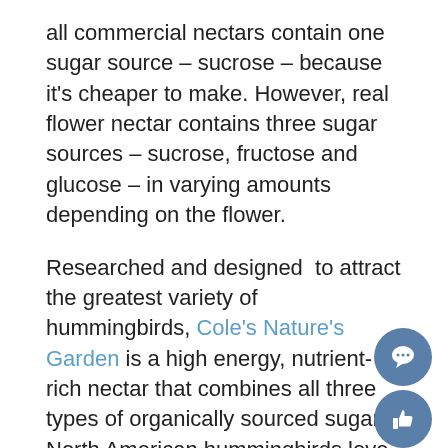all commercial nectars contain one sugar source – sucrose – because it's cheaper to make. However, real flower nectar contains three sugar sources – sucrose, fructose and glucose – in varying amounts depending on the flower.
Researched and designed to attract the greatest variety of hummingbirds, Cole's Nature's Garden is a high energy, nutrient-rich nectar that combines all three types of organically sourced sugars North American hummingbirds love, with a spring water base. It closely mimics the sugar ratios they favor and provides a healthier, nutritious, all-natural alternative to table sugar.
Don't forget, hummingbirds have memories like elephants; once they discover your hummer-friendly habitat, they'll come back every year if there's a reliable food source. Learn more at